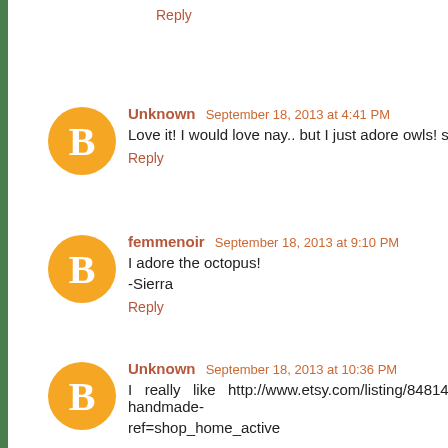Reply
Unknown  September 18, 2013 at 4:41 PM
Love it! I would love nay.. but I just adore owls! so that would be amazin
Reply
femmenoir  September 18, 2013 at 9:10 PM
I adore the octopus!

-Sierra
Reply
Unknown  September 18, 2013 at 10:36 PM
I really like http://www.etsy.com/listing/84814355/4-handmade- ref=shop_home_active
Reply
Teresa Cavanaugh  September 19, 2013 at 12:52 AM